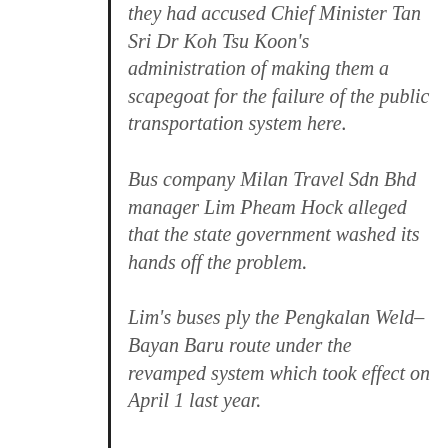they had accused Chief Minister Tan Sri Dr Koh Tsu Koon's administration of making them a scapegoat for the failure of the public transportation system here.
Bus company Milan Travel Sdn Bhd manager Lim Pheam Hock alleged that the state government washed its hands off the problem.
Lim's buses ply the Pengkalan Weld–Bayan Baru route under the revamped system which took effect on April 1 last year.
“It knew our constraints but did